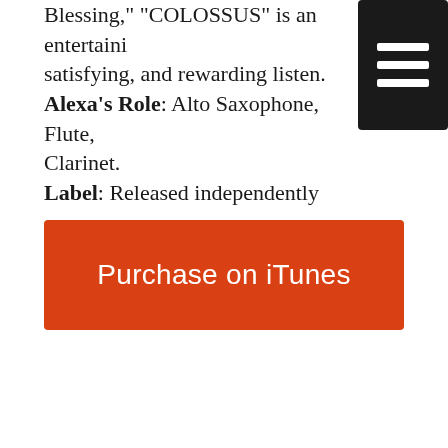Blessing," "COLOSSUS" is an entertaining, satisfying, and rewarding listen. Alexa's Role: Alto Saxophone, Flute, Clarinet. Label: Released independently
Purchase on iTunes